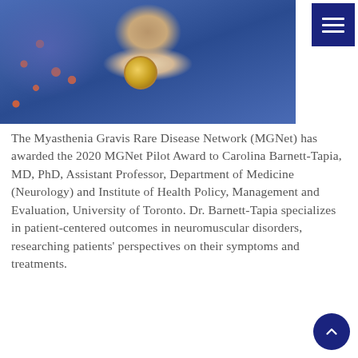[Figure (photo): Photo of a woman wearing a blue polka-dot shirt, a beaded brown necklace with a large circular gold pendant]
The Myasthenia Gravis Rare Disease Network (MGNet) has awarded the 2020 MGNet Pilot Award to Carolina Barnett-Tapia, MD, PhD, Assistant Professor, Department of Medicine (Neurology) and Institute of Health Policy, Management and Evaluation, University of Toronto. Dr. Barnett-Tapia specializes in patient-centered outcomes in neuromuscular disorders, researching patients' perspectives on their symptoms and treatments.